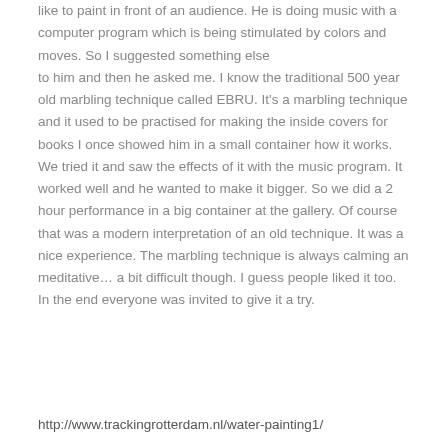like to paint in front of an audience. He is doing music with a computer program which is being stimulated by colors and moves. So I suggested something else to him and then he asked me. I know the traditional 500 year old marbling technique called EBRU. It's a marbling technique and it used to be practised for making the inside covers for books I once showed him in a small container how it works. We tried it and saw the effects of it with the music program. It worked well and he wanted to make it bigger. So we did a 2 hour performance in a big container at the gallery. Of course that was a modern interpretation of an old technique. It was a nice experience. The marbling technique is always calming an meditative… a bit difficult though. I guess people liked it too. In the end everyone was invited to give it a try.
http://www.trackingrotterdam.nl/water-painting1/